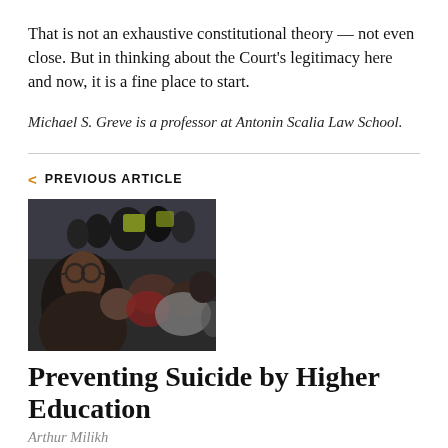That is not an exhaustive constitutional theory — not even close. But in thinking about the Court's legitimacy here and now, it is a fine place to start.
Michael S. Greve is a professor at Antonin Scalia Law School.
< PREVIOUS ARTICLE
[Figure (photo): A crowd of people sitting together outdoors, appears to be a protest or demonstration scene.]
Preventing Suicide by Higher Education
Arthur Milikh